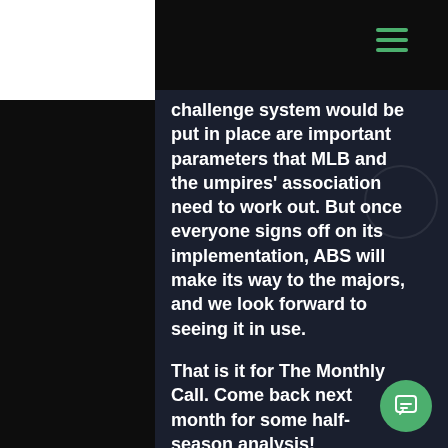challenge system would be put in place are important parameters that MLB and the umpires' association need to work out. But once everyone signs off on its implementation, ABS will make its way to the majors, and we look forward to seeing it in use.
That is it for The Monthly Call. Come back next month for some half-season analysis!
Posts
139